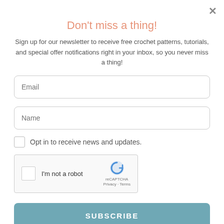[Figure (photo): Partial view of a background image showing crochet/craft items, partially obscured by the modal overlay.]
Don't miss a thing!
Sign up for our newsletter to receive free crochet patterns, tutorials, and special offer notifications right in your inbox, so you never miss a thing!
Email
Name
Opt in to receive news and updates.
I'm not a robot
reCAPTCHA
Privacy - Terms
SUBSCRIBE